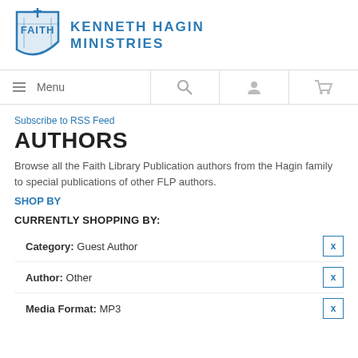[Figure (logo): Kenneth Hagin Ministries logo — blue shield/cross emblem with FAITH text, beside 'KENNETH HAGIN MINISTRIES' in blue bold text]
Menu | Search | Account | Cart navigation bar
Subscribe to RSS Feed
AUTHORS
Browse all the Faith Library Publication authors from the Hagin family to special publications of other FLP authors.
SHOP BY
CURRENTLY SHOPPING BY:
Category: Guest Author  x
Author: Other  x
Media Format: MP3  x